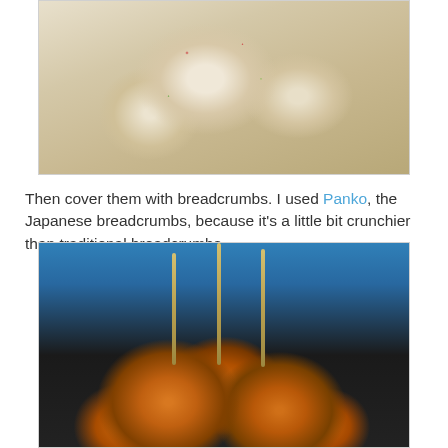[Figure (photo): Close-up photo of raw breadcrumb-coated food balls (arancini or similar), covered in white Panko breadcrumbs with visible red and green specks, displayed in a white dish]
Then cover them with breadcrumbs. I used Panko, the Japanese breadcrumbs, because it's a little bit crunchier than traditional breadcrumbs.
[Figure (photo): Photo of golden fried breadcrumb-coated food balls on wooden skewers, arranged on a dark surface with a blue background, showing crispy orange-golden coating]